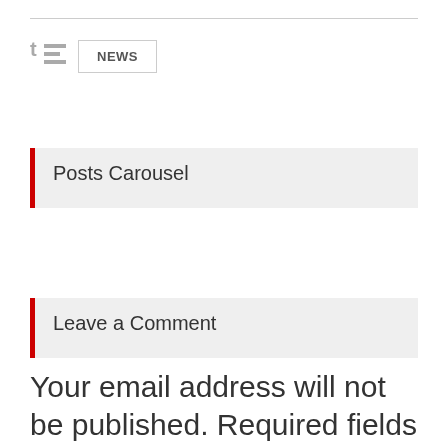[Figure (screenshot): Navigation icon with letter T and horizontal bars, representing a content/widget icon]
NEWS
Posts Carousel
Leave a Comment
Your email address will not be published. Required fields are marked with *